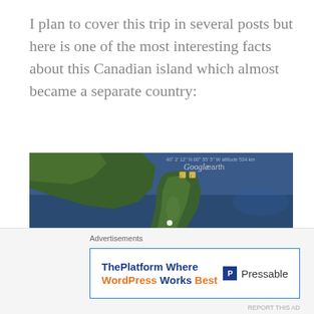I plan to cover this trip in several posts but here is one of the most interesting facts about this Canadian island which almost became a separate country:
[Figure (map): Google Earth satellite view showing a Canadian island (elongated green landmass) in what appears to be the St. Lawrence region, surrounded by dark blue water. The map shows 'Google earth' watermark at top. 'St-Lawrence' label visible at bottom left. A navigation compass is visible at bottom right.]
Advertisements
ThePlatform Where WordPress Works Best — Pressable